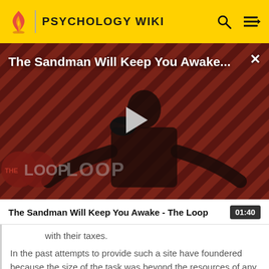PSYCHOLOGY WIKI
[Figure (screenshot): Video thumbnail for 'The Sandman Will Keep You Awake...' showing a dark-robed figure against a red and black diagonal striped background with 'THE LOOP' watermark and a play button in the center.]
The Sandman Will Keep You Awake - The Loop  01:40
with their taxes.
In the past attempts to provide such a site have foundered because the size of the task was beyond the resources of any team that could be